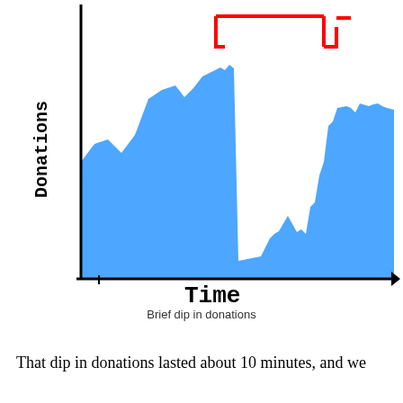[Figure (continuous-plot): Hand-drawn area chart showing donations over time. Blue filled area represents donation levels, with a notable dip in the middle portion of the chart. A red curly/square bracket annotation highlights the dip region. Y-axis labeled 'Donations' (handwritten, vertical), X-axis labeled 'Time' (handwritten) with an arrow pointing right.]
Brief dip in donations
That dip in donations lasted about 10 minutes, and we